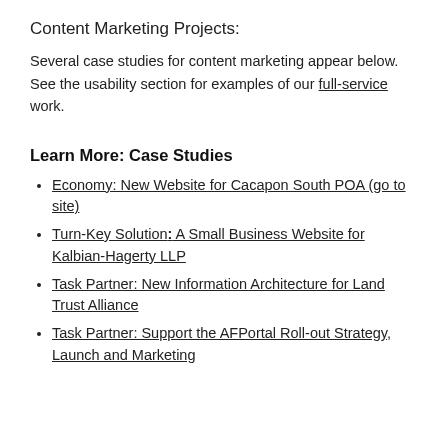Content Marketing Projects:
Several case studies for content marketing appear below.  See the usability section for examples of our full-service work.
Learn More: Case Studies
Economy: New Website for Cacapon South POA (go to site)
Turn-Key Solution: A Small Business Website for Kalbian-Hagerty LLP
Task Partner: New Information Architecture for Land Trust Alliance
Task Partner: Support the AFPortal Roll-out Strategy, Launch and Marketing